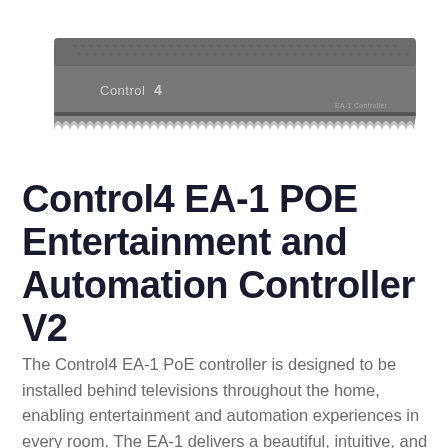[Figure (photo): Control4 EA-1 Controller hardware device — a flat dark gray rectangular unit with ventilation grilles on top and the Control4 logo on the front. The text 'EA-1 Controller' appears in small text on the right side of the device.]
Control4 EA-1 POE Entertainment and Automation Controller V2
The Control4 EA-1 PoE controller is designed to be installed behind televisions throughout the home, enabling entertainment and automation experiences in every room. The EA-1 delivers a beautiful, intuitive, and responsive on-screen user interface with the